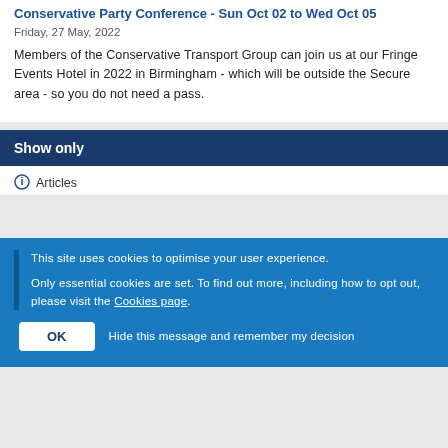Conservative Party Conference - Sun Oct 02 to Wed Oct 05
Friday, 27 May, 2022
Members of the Conservative Transport Group can join us at our Fringe Events Hotel in 2022 in Birmingham - which will be outside the Secure area - so you do not need a pass.
Show only
Articles
This site uses cookies to optimise your user experience.
Only essential cookies are set. To find out more, including how to opt out, please visit the Cookies page.
OK  Hide this message and remember my decision